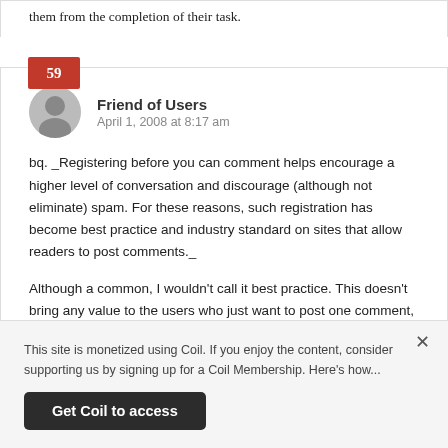them from the completion of their task.
59
Friend of Users
April 1, 2008 at 8:17 am
bq. _Registering before you can comment helps encourage a higher level of conversation and discourage (although not eliminate) spam. For these reasons, such registration has become best practice and industry standard on sites that allow readers to post comments._
Although a common, I wouldn't call it best practice. This doesn't bring any value to the users who just want to post one comment, it can
This site is monetized using Coil. If you enjoy the content, consider supporting us by signing up for a Coil Membership. Here's how...
Get Coil to access